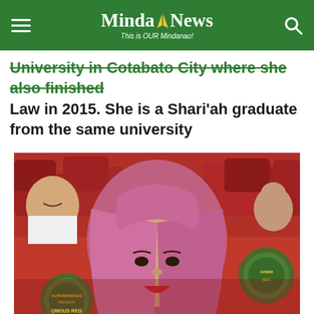MindaNews — This is OUR Mindanao!
University in Cotabato City where she also finished Law in 2015. She is a Shari'ah graduate from the same university
[Figure (photo): A woman wearing a pink/magenta hijab, seated among red auditorium chairs. An ARMM seal/logo is visible in the background. Other people are seated in the background.]